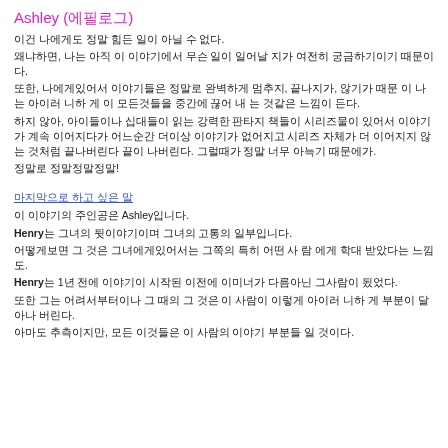Ashley (에필로그)
이건 나에게도 정말 힘든 일이 아닐 수 없다.
왜냐하면, 나는 아직 이 이야기에서 무슨 일이 일어날 지가 여전히 궁금하기이기 때문이다.
또한, 나에게있어서 이야기들은 정말로 완벽하게 멈추지, 끝나지가, 않기가 때문 이 나는 아이러 니하 게 이 모든것들을 중간에 끊어 내 는 것같은 느낌이 든다.
하지 않아, 아이들이나 십대들이 읽는 강력한 판타지 책들이 시리즈물이 있어서 이야기가 계속 이어지다가 어느순간 더이상 이야기가 없어지고 시리즈 자체가 더 이어지지 않는 것처럼 끝나버린다 끝이 나버린다. 그럴때가 정말 너무 아늑기 때문에가.
정말로 정말정말정말!
마지막으로 하고 싶은 말
이 이야기의 주인공은 Ashley입니다.
Henry는 그녀의 뒷이야기이며 그녀의 고통의 일부입니다.
어떻게보면 그 것은 그녀에게있어서는 그쪽의 특히 어떤 사 람 에게 학대 받았다는 느낌도.
Henry는 1년 전에 이야기이 시작된 이전에 이미너가 다름아닌 그사람이 됬었다.
또한 그는 어려서부터이나 그 때의 그 것은 이 사람이 이렇게 아이러 니하 게 부분이 달아나 버린다.
아마도 추측이지만, 모든 이것들은 이 사람의 이야기 부분들 일 것이다.